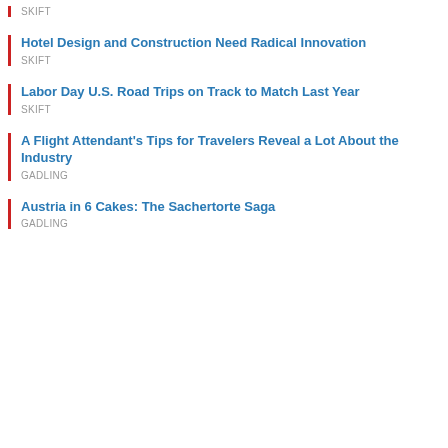SKIFT
Hotel Design and Construction Need Radical Innovation
SKIFT
Labor Day U.S. Road Trips on Track to Match Last Year
SKIFT
A Flight Attendant's Tips for Travelers Reveal a Lot About the Industry
GADLING
Austria in 6 Cakes: The Sachertorte Saga
GADLING